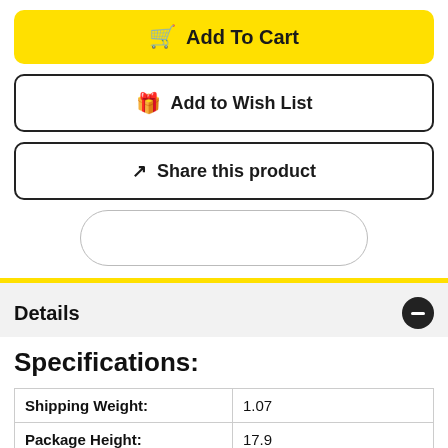🛒 Add To Cart
🎁 Add to Wish List
↗ Share this product
Details
Specifications:
|  |  |
| --- | --- |
| Shipping Weight: | 1.07 |
| Package Height: | 17.9 |
| Package Depth: |  |